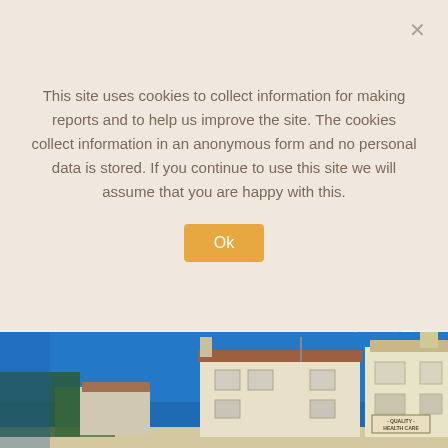This site uses cookies to collect information for making reports and to help us improve the site. The cookies collect information in an anonymous form and no personal data is stored. If you continue to use this site we will assume that you are happy with this.
[Figure (map): Google Maps screenshot showing B300 road, with labels for 'dhouse Hotel emouth' (partial, left-cropped) and 'LOVECHURCH @ St Swithun's Bournemouth' with a pin marker]
[Figure (photo): Exterior photo of a cream/yellow rendered building under a bright blue sky, with a sign reading 'QUALITY HEALTH CARE' visible on the right building facade, and trees visible on the left]